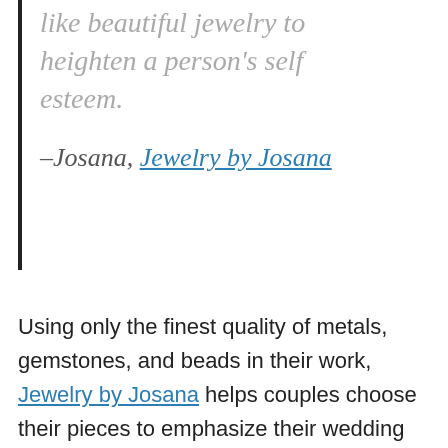like beautiful jewelry to heighten a person's self esteem.
–Josana, Jewelry by Josana
Using only the finest quality of metals, gemstones, and beads in their work, Jewelry by Josana helps couples choose their pieces to emphasize their wedding colors and add personal touches to reflect their love story within the jewelry. From hypoallergenic metals and crystals